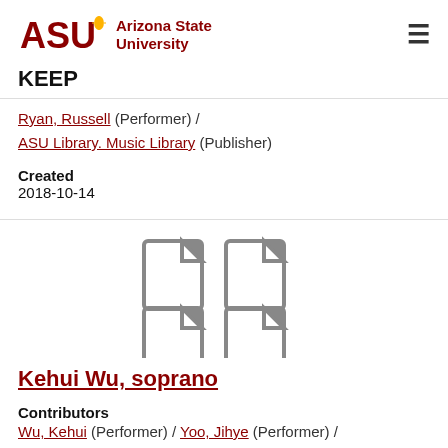[Figure (logo): Arizona State University logo with ASU text and sunburst icon]
KEEP
Ryan, Russell (Performer) / ASU Library. Music Library (Publisher)
Created
2018-10-14
[Figure (illustration): Four document/file icons arranged in a 2x2 grid]
Kehui Wu, soprano
Contributors
Wu, Kehui (Performer) / Yoo, Jihye (Performer) /